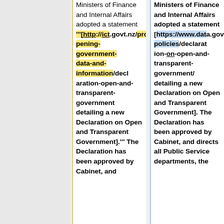Ministers of Finance and Internal Affairs adopted a statement "[http://ict.govt.nz/programme/opening-government-data-and-information/declaration-open-and-transparent-government detailing a new Declaration on Open and Transparent Government]."" The Declaration has been approved by Cabinet, and directed all Public
Ministers of Finance and Internal Affairs adopted a statement [https://www.data.govt.nz/toolkit/policies/declaration-on-open-and-transparent-government/ detailing a new Declaration on Open and Transparent Government]. The Declaration has been approved by Cabinet, and directs all Public Service departments, the New Zealand